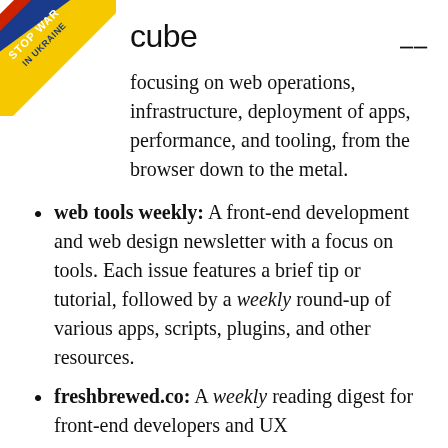cube
focusing on web operations, infrastructure, deployment of apps, performance, and tooling, from the browser down to the metal.
web tools weekly: A front-end development and web design newsletter with a focus on tools. Each issue features a brief tip or tutorial, followed by a weekly round-up of various apps, scripts, plugins, and other resources.
freshbrewed.co: A weekly reading digest for front-end developers and UX